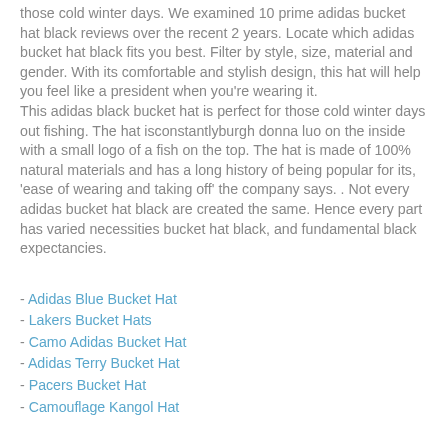those cold winter days. We examined 10 prime adidas bucket hat black reviews over the recent 2 years. Locate which adidas bucket hat black fits you best. Filter by style, size, material and gender. With its comfortable and stylish design, this hat will help you feel like a president when you're wearing it.
This adidas black bucket hat is perfect for those cold winter days out fishing. The hat isconstantlyburgh donna luo on the inside with a small logo of a fish on the top. The hat is made of 100% natural materials and has a long history of being popular for its, "ease of wearing and taking off" the company says. . Not every adidas bucket hat black are created the same. Hence every part has varied necessities bucket hat black, and fundamental black expectancies.
- Adidas Blue Bucket Hat
- Lakers Bucket Hats
- Camo Adidas Bucket Hat
- Adidas Terry Bucket Hat
- Pacers Bucket Hat
- Camouflage Kangol Hat